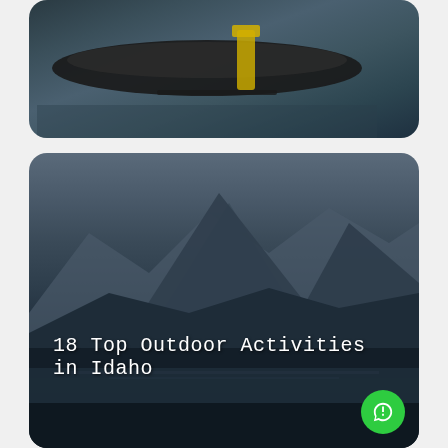[Figure (photo): Top card showing a kayak or boat on water, dark moody tones with teal and yellow colors visible, rounded corners card style]
[Figure (photo): Bottom card showing mountain landscape with lake reflection, dark dramatic sky, forest in foreground, with text overlay '18 Top Outdoor Activities in Idaho']
18 Top Outdoor Activities in Idaho